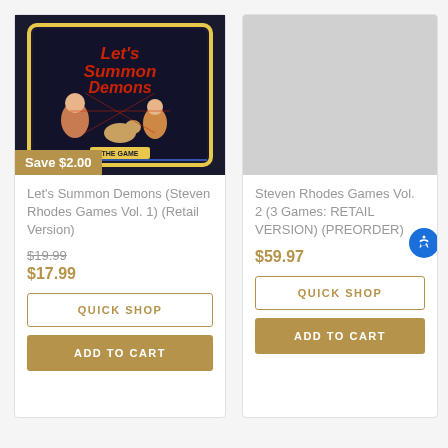[Figure (illustration): Book cover for Let's Summon Demons board game showing cartoon children and monster figures on dark background]
Save $2.00
Let's Summon Demons (Steven Rhodes Games Vol. 1) (Retail Version)
$19.99
$17.99
QUICK SHOP
ADD TO CART
[Figure (illustration): Product image area for Steven Rhodes Games Vol. 2 - partially visible, appears blank/grey]
Steven Rhodes Games Vol. 2 (3 Games: RETAIL VERSION) (PREORDER)
$59.97
QUICK SHOP
ADD TO CART